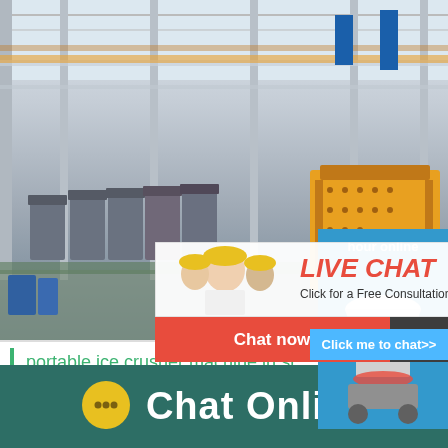[Figure (photo): Factory floor photo showing a row of yellow and grey crusher machines in an industrial warehouse with steel structure ceiling]
[Figure (infographic): Live Chat popup overlay with workers in yellow hard hats, red LIVE CHAT text, 'Click for a Free Consultation' subtitle, red 'Chat now' button and dark 'Chat later' button, and an X close button]
[Figure (photo): Blue panel on right side showing a cone crusher machine and '24 hour online' text with a 'Click me to chat>>' button]
portable ice crusher machine in si
Chat Online